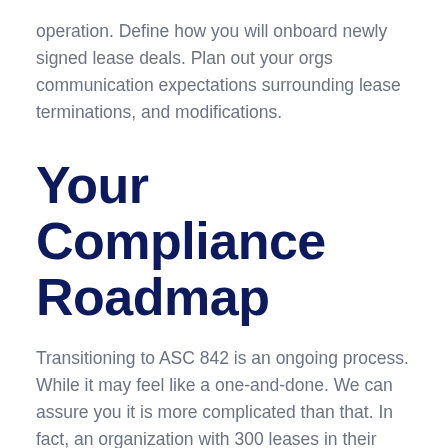operation. Define how you will onboard newly signed lease deals. Plan out your orgs communication expectations surrounding lease terminations, and modifications.
Your Compliance Roadmap
Transitioning to ASC 842 is an ongoing process. While it may feel like a one-and-done. We can assure you it is more complicated than that. In fact, an organization with 300 leases in their portfolio can expect an average of 230 events to